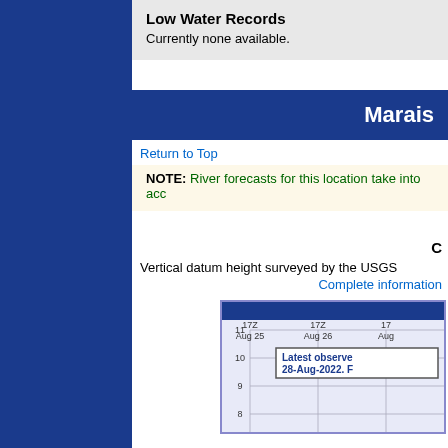Low Water Records
Currently none available.
Marais
Return to Top
NOTE: River forecasts for this location take into acc
C
Vertical datum height surveyed by the USGS
Complete information
[Figure (continuous-plot): River stage hydrograph chart showing observed and forecast water levels. X-axis shows dates: 17Z Aug 25, 17Z Aug 26, 17Z Aug... Y-axis shows values 8, 9, 10, 11. A tooltip popup shows: Latest observe 28-Aug-2022. F]